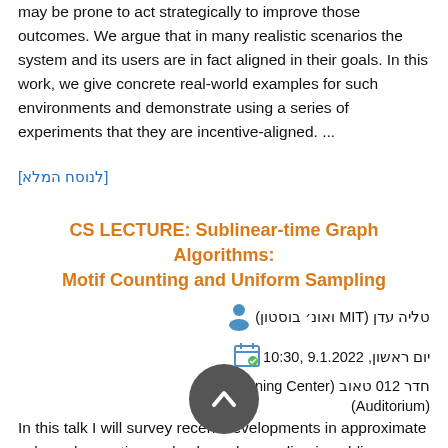may be prone to act strategically to improve those outcomes. We argue that in many realistic scenarios the system and its users are in fact aligned in their goals. In this work, we give concrete real-world examples for such environments and demonstrate using a series of experiments that they are incentive-aligned. ...
[לנוסח המלא]
CS LECTURE: Sublinear-time Graph Algorithms: Motif Counting and Uniform Sampling
טליה עדן (MIT ואונ׳ בוסטון)
יום ראשון, 9.1.2022 ,10:30
חדר 012 טאוב (Learning Center) (Auditorium)
In this talk I will survey recent developments in approximate subgraph counting and subgraph sampling in sublinear